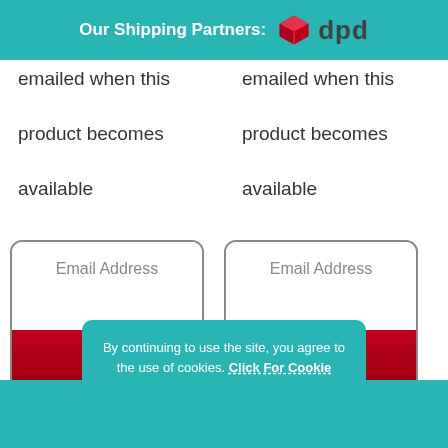Our Shipping Partners: dpd
emailed when this product becomes available
emailed when this product becomes available
[Figure (infographic): Email Address input box with Join Waitlist button (left column)]
[Figure (infographic): Email Address input box with Join Waitlist button (right column)]
By continuing to use the site, you agree to the use of cookies. Click For Cookie Policy
Accept